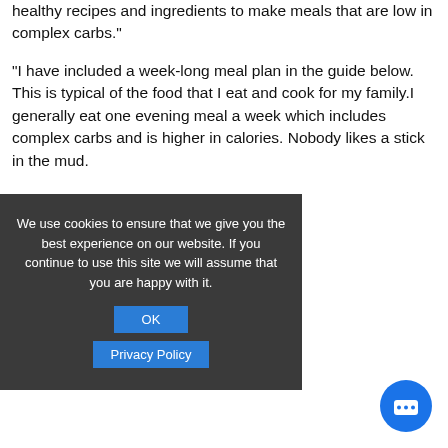healthy recipes and ingredients to make meals that are low in complex carbs."
"I have included a week-long meal plan in the guide below.  This is typical of the food that I eat and cook for my family.I generally eat one evening meal a week which includes complex carbs and is higher in calories. Nobody likes a stick in the mud.
[Figure (screenshot): Cookie consent banner with dark background, text about cookies, OK button and Privacy Policy button]
[Figure (other): Blue circular chat bubble icon with speech bubble dots, bottom right corner]